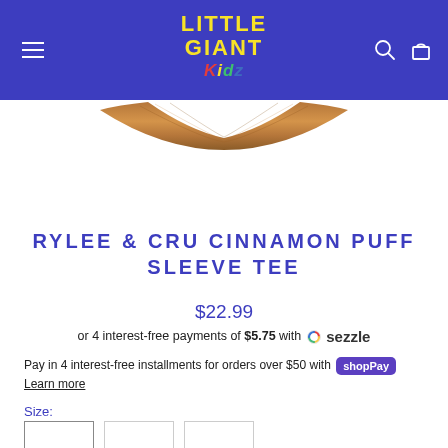Little Giant Kidz
[Figure (photo): Bottom edge of a white t-shirt with a brown wood-grain collar/neckline detail, cropped product image on white background]
RYLEE & CRU CINNAMON PUFF SLEEVE TEE
$22.99
or 4 interest-free payments of $5.75 with Sezzle
Pay in 4 interest-free installments for orders over $50 with Shop Pay
Learn more
Size: